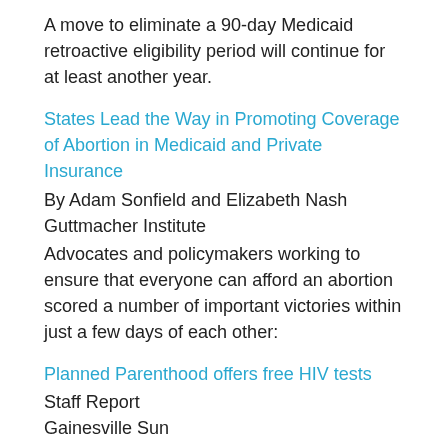A move to eliminate a 90-day Medicaid retroactive eligibility period will continue for at least another year.
States Lead the Way in Promoting Coverage of Abortion in Medicaid and Private Insurance
By Adam Sonfield and Elizabeth Nash
Guttmacher Institute
Advocates and policymakers working to ensure that everyone can afford an abortion scored a number of important victories within just a few days of each other:
Planned Parenthood offers free HIV tests
Staff Report
Gainesville Sun
Planned Parenthood will mark Thursday's National HIV Testing Day by offering free HIV tests